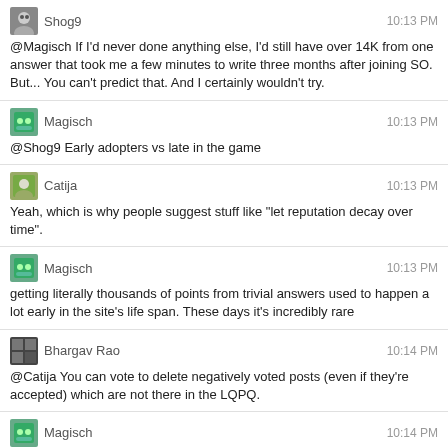Shog9 10:13 PM @Magisch If I'd never done anything else, I'd still have over 14K from one answer that took me a few minutes to write three months after joining SO. But... You can't predict that. And I certainly wouldn't try.
Magisch 10:13 PM @Shog9 Early adopters vs late in the game
Catija 10:13 PM Yeah, which is why people suggest stuff like "let reputation decay over time".
Magisch 10:13 PM getting literally thousands of points from trivial answers used to happen a lot early in the site's life span. These days it's incredibly rare
Bhargav Rao 10:14 PM @Catija You can vote to delete negatively voted posts (even if they're accepted) which are not there in the LQPQ.
Magisch 10:14 PM Which is why I'm a little disappointed that rep is as big of a deal as it is
Catija 10:15 PM @BhargavRao Yes. Sure... I'm not sure how often that's used outside SO, though. I have a diamond on two sites and 20K on two others and I very rarely have anything that needs to be voted to delete.
Shog9 10:16 PM